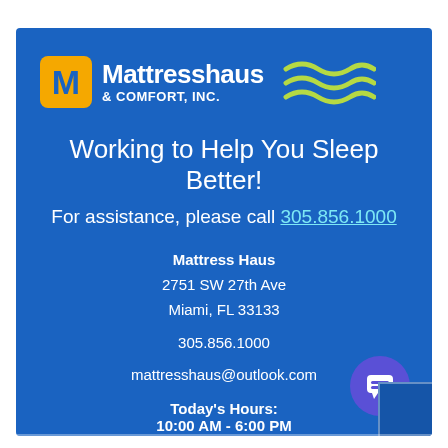[Figure (logo): Mattresshaus & Comfort, Inc. logo with yellow M box, white text, and green wave lines]
Working to Help You Sleep Better!
For assistance, please call 305.856.1000
Mattress Haus
2751 SW 27th Ave
Miami, FL 33133
305.856.1000
mattresshaus@outlook.com
Today's Hours:
10:00 AM - 6:00 PM